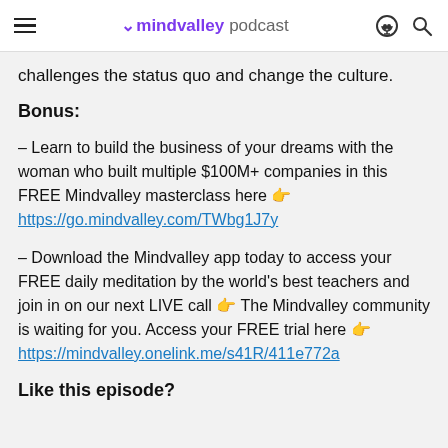mindvalley podcast
challenges the status quo and change the culture.
Bonus:
– Learn to build the business of your dreams with the woman who built multiple $100M+ companies in this FREE Mindvalley masterclass here 👉 https://go.mindvalley.com/TWbg1J7y
– Download the Mindvalley app today to access your FREE daily meditation by the world's best teachers and join in on our next LIVE call 👉 The Mindvalley community is waiting for you. Access your FREE trial here 👉 https://mindvalley.onelink.me/s41R/411e772a
Like this episode?